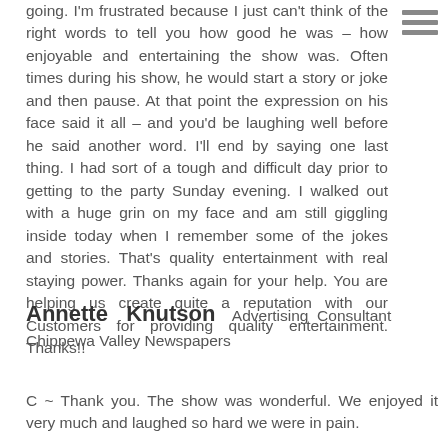going. I'm frustrated because I just can't think of the right words to tell you how good he was – how enjoyable and entertaining the show was. Often times during his show, he would start a story or joke and then pause. At that point the expression on his face said it all – and you'd be laughing well before he said another word. I'll end by saying one last thing. I had sort of a tough and difficult day prior to getting to the party Sunday evening. I walked out with a huge grin on my face and am still giggling inside today when I remember some of the jokes and stories. That's quality entertainment with real staying power. Thanks again for your help. You are helping us create quite a reputation with our Customers for providing quality entertainment. Thanks!!
Annette Knutson   Advertising Consultant Chippewa Valley Newspapers
C ~ Thank you. The show was wonderful. We enjoyed it very much and laughed so hard we were in pain.